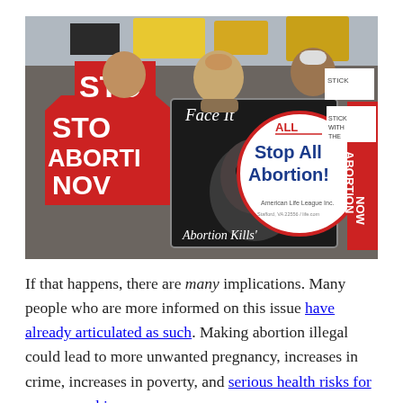[Figure (photo): A crowd of anti-abortion protesters marching, holding red and white signs reading 'STOP ABORTION NOW', a black sign reading 'Face It Abortion Kills' with an image of a baby's face, and a round white sign reading 'Stop All Abortion! American Life League Inc.']
If that happens, there are many implications. Many people who are more informed on this issue have already articulated as such. Making abortion illegal could lead to more unwanted pregnancy, increases in crime, increases in poverty, and serious health risks for women seeking